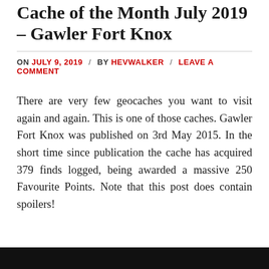Cache of the Month July 2019 – Gawler Fort Knox
ON JULY 9, 2019 / BY HEVWALKER / LEAVE A COMMENT
There are very few geocaches you want to visit again and again. This is one of those caches. Gawler Fort Knox was published on 3rd May 2015. In the short time since publication the cache has acquired 379 finds logged, being awarded a massive 250 Favourite Points. Note that this post does contain spoilers!